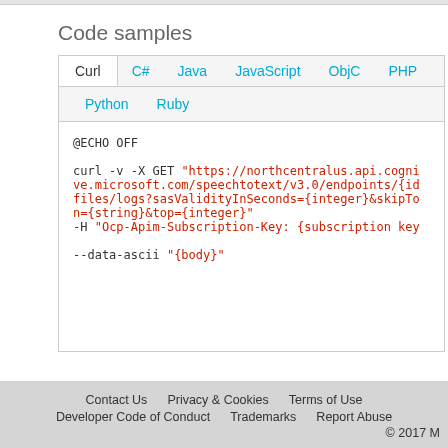Code samples
Curl  C#  Java  JavaScript  ObjC  PHP  Python  Ruby
@ECHO OFF

curl -v -X GET "https://northcentralus.api.cognitive.microsoft.com/speechtotext/v3.0/endpoints/{id}/files/logs?sasValidityInSeconds={integer}&skipToken={string}&top={integer}"
-H "Ocp-Apim-Subscription-Key: {subscription key}"

--data-ascii "{body}"
Contact Us   Privacy & Cookies   Terms of Use   Developer Code of Conduct   Trademarks   Report Abuse   © 2017 M